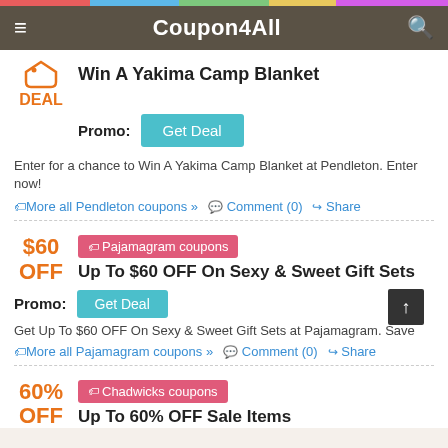Coupon4All
Win A Yakima Camp Blanket
Promo: Get Deal
Enter for a chance to Win A Yakima Camp Blanket at Pendleton. Enter now!
More all Pendleton coupons »  Comment (0)  Share
$60 OFF
Pajamagram coupons
Up To $60 OFF On Sexy & Sweet Gift Sets
Promo: Get Deal
Get Up To $60 OFF On Sexy & Sweet Gift Sets at Pajamagram. Save
More all Pajamagram coupons »  Comment (0)  Share
60% OFF
Chadwicks coupons
Up To 60% OFF Sale Items